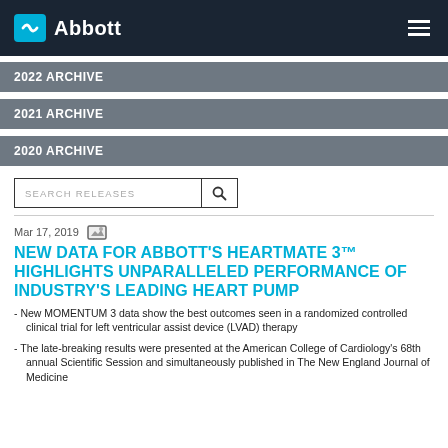Abbott
2022 ARCHIVE
2021 ARCHIVE
2020 ARCHIVE
SEARCH RELEASES
Mar 17, 2019
NEW DATA FOR ABBOTT'S HEARTMATE 3™ HIGHLIGHTS UNPARALLELED PERFORMANCE OF INDUSTRY'S LEADING HEART PUMP
New MOMENTUM 3 data show the best outcomes seen in a randomized controlled clinical trial for left ventricular assist device (LVAD) therapy
The late-breaking results were presented at the American College of Cardiology's 68th annual Scientific Session and simultaneously published in The New England Journal of Medicine